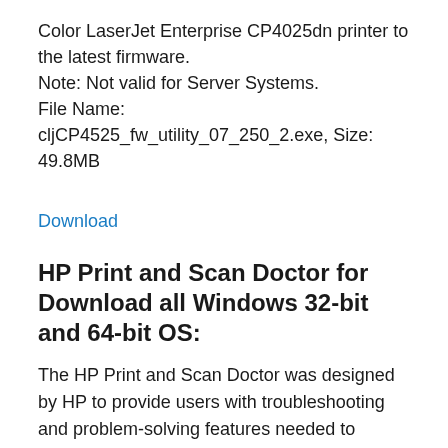Color LaserJet Enterprise CP4025dn printer to the latest firmware.
Note: Not valid for Server Systems.
File Name:
cljCP4525_fw_utility_07_250_2.exe, Size: 49.8MB
Download
HP Print and Scan Doctor for Download all Windows 32-bit and 64-bit OS:
The HP Print and Scan Doctor was designed by HP to provide users with troubleshooting and problem-solving features needed to resolve many common problems experienced with HP print and scan products